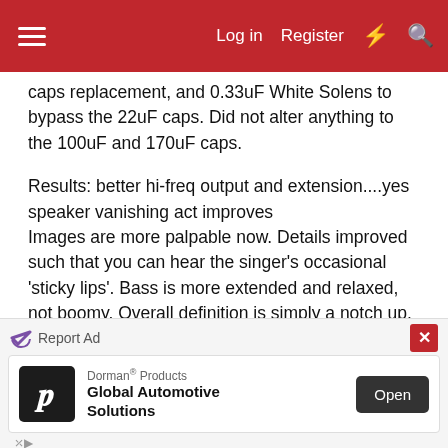Log in  Register
caps replacement, and 0.33uF White Solens to bypass the 22uF caps. Did not alter anything to the 100uF and 170uF caps.
Results: better hi-freq output and extension....yes speaker vanishing act improves
Images are more palpable now. Details improved such that you can hear the singer's occasional 'sticky lips'. Bass is more extended and relaxed, not boomy. Overall definition is simply a notch up.
Thanks for the write up JJ! Found a new and exciting life for the Aerius i now.
Just wondering what would bypassing the 100uF and 170uF be like?
[Figure (other): Advertisement banner: Dorman Products - Global Automotive Solutions, with Open button and Report Ad label]